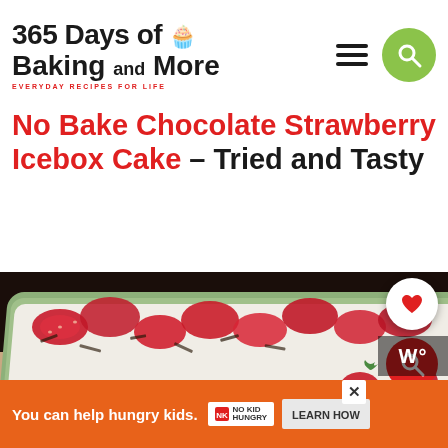365 Days of Baking and More – EVERYDAY RECIPES FOR LIFE
No Bake Chocolate Strawberry Icebox Cake – Tried and Tasty
[Figure (photo): A rectangular green baking dish filled with an icebox cake topped with sliced fresh strawberries and chocolate shavings, surrounded by whole and halved strawberries on a wooden surface.]
You can help hungry kids. NO KID HUNGRY LEARN HOW